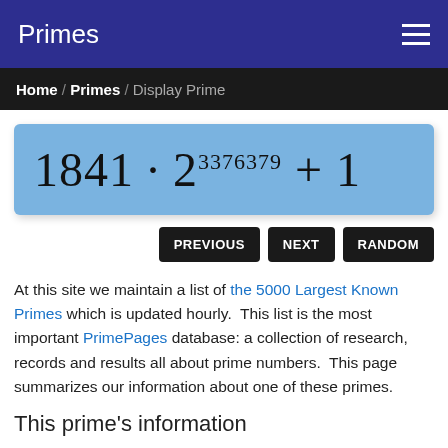Primes
Home / Primes / Display Prime
At this site we maintain a list of the 5000 Largest Known Primes which is updated hourly.  This list is the most important PrimePages database: a collection of research, records and results all about prime numbers.  This page summarizes our information about one of these primes.
This prime's information